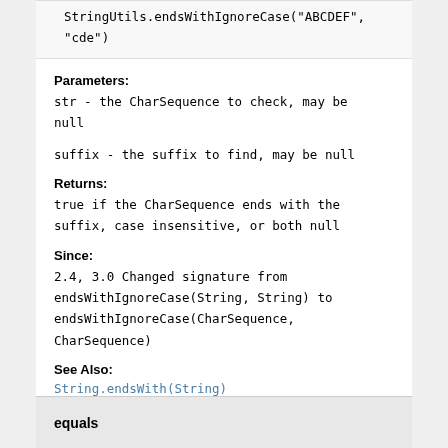StringUtils.endsWithIgnoreCase("ABCDEF", "cde")
Parameters:
str - the CharSequence to check, may be null
suffix - the suffix to find, may be null
Returns:
true if the CharSequence ends with the suffix, case insensitive, or both null
Since:
2.4, 3.0 Changed signature from endsWithIgnoreCase(String, String) to endsWithIgnoreCase(CharSequence, CharSequence)
See Also:
String.endsWith(String)
equals